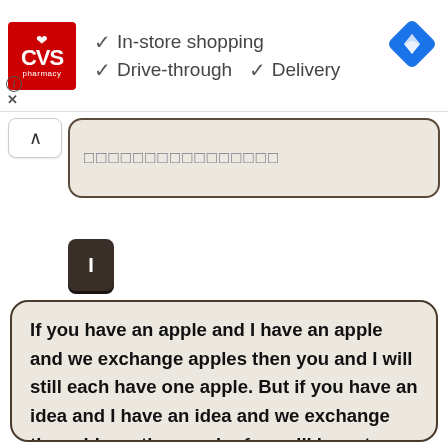[Figure (screenshot): CVS Pharmacy ad banner showing logo and checkmarks for In-store shopping, Drive-through, and Delivery features, with a navigation icon on the right]
[Figure (screenshot): Chat interface with a caret/collapse button and a text input box with placeholder squares]
[Figure (screenshot): Dark rounded keyboard key button showing letter I]
If you have an apple and I have an apple and we exchange apples then you and I will still each have one apple. But if you have an idea and I have an idea and we exchange these ideas, then each of us will have two ideas.